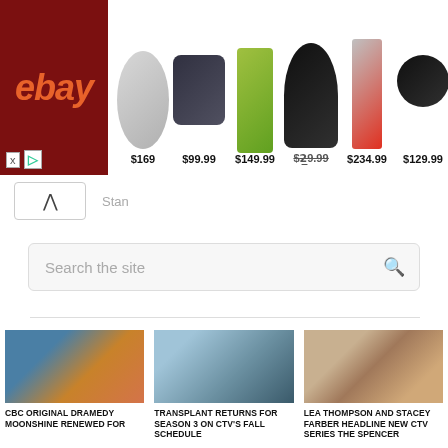[Figure (screenshot): eBay advertisement banner showing wireless earbuds at $169, Bluetooth speaker at $99.99, vacuum at $149.99, headphones at a strikethrough price ~$279.99, headphones at $234.99, and earbuds at $129.99]
Search the site
[Figure (photo): CBC Original Dramedy Moonshine cast photo outdoors in front of a house]
[Figure (photo): Transplant TV show — doctors and nurses in scrubs in a hospital setting]
[Figure (photo): Lea Thompson and Stacey Farber side-by-side portrait]
CBC ORIGINAL DRAMEDY MOONSHINE RENEWED FOR
TRANSPLANT RETURNS FOR SEASON 3 ON CTV'S FALL SCHEDULE
LEA THOMPSON AND STACEY FARBER HEADLINE NEW CTV SERIES THE SPENCER